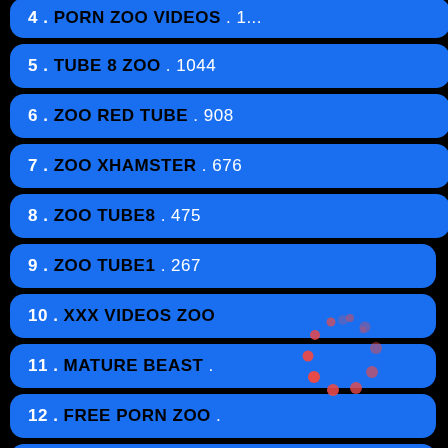4 . PORN ZOO VIDEOS . 1...
5 . TUBE 8 ZOO . 1044
6 . ZOO RED TUBE . 908
7 . ZOO XHAMSTER . 676
8 . ZOO TUBE8 . 475
9 . ZOO TUBE1 . 267
10 . XXX VIDEOS ZOO
11 . MATURE BEAST .
12 . FREE PORN ZOO .
13 . XNXX ZOO . 71
[Figure (infographic): Red loading spinner circle made of dots on black background]